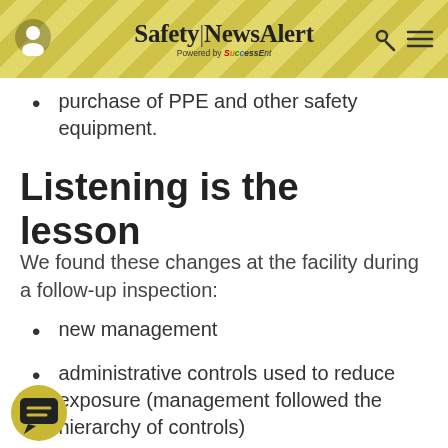Safety|NewsAlert Powered by SuccessEnt
purchase of PPE and other safety equipment.
Listening is the lesson
We found these changes at the facility during a follow-up inspection:
new management
administrative controls used to reduce exposure (management followed the hierarchy of controls)